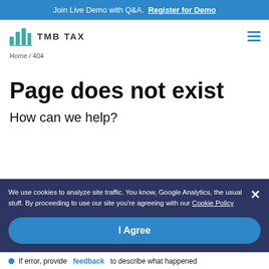Join Live Demo with Q&A. Register for Demo
[Figure (logo): TMB TAX logo with bar chart icon in teal/green]
Home / 404
Page does not exist
How can we help?
We use cookies to analyze site traffic. You know, Google Analytics, the usual stuff. By proceeding to use our site you're agreeing with our Cookie Policy
I Agree
If error, provide feedback to describe what happened